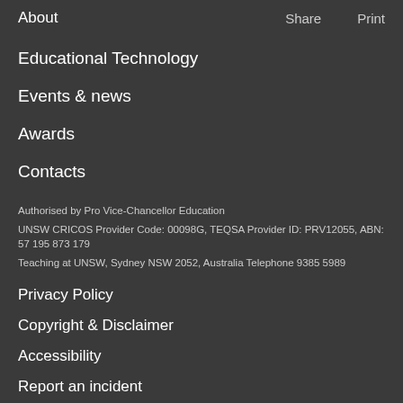About   Share   Print
Educational Technology
Events & news
Awards
Contacts
Authorised by Pro Vice-Chancellor Education
UNSW CRICOS Provider Code: 00098G, TEQSA Provider ID: PRV12055, ABN: 57 195 873 179
Teaching at UNSW, Sydney NSW 2052, Australia Telephone 9385 5989
Privacy Policy
Copyright & Disclaimer
Accessibility
Report an incident
Complaints